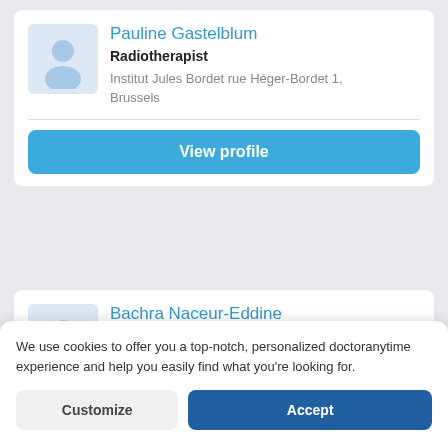Pauline Gastelblum
Radiotherapist
Institut Jules Bordet rue Héger-Bordet 1, Brussels
View profile
Bachra Naceur-Eddine
Radiotherapist
Hôpitaux Iris Sud - Site Joseph Bracops rue Dr Huet 79, Anderlecht
We use cookies to offer you a top-notch, personalized doctoranytime experience and help you easily find what you're looking for.
Customize
Accept